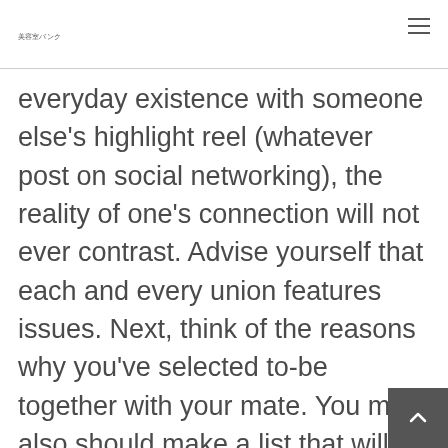美容室バンク
everyday existence with someone else's highlight reel (whatever post on social networking), the reality of one's connection will not ever contrast. Advise yourself that each and every union features issues. Next, think of the reasons why you've selected to-be together with your mate. You may also should make a list that will help you concentrate on the good stuff, you bring a reminder whenever everything is rough.